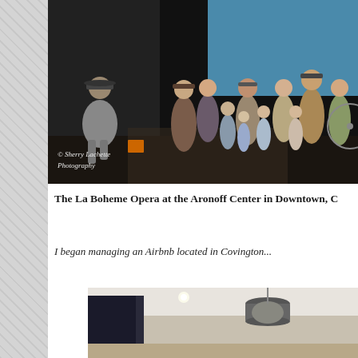[Figure (photo): Opera stage performance of La Boheme showing performers in period costumes, a crowd of adults and children on a city street set with dark buildings and a blue sky backdrop. A man in grey suit sits at left reading, a crowd gathers in center.]
The La Boheme Opera at the Aronoff Center in Downtown, C...
I began managing an Airbnb located in Covington...
[Figure (photo): Interior room photo showing a ceiling with a modern hanging light fixture (drum pendant lamp) and recessed lighting, walls painted in neutral tones.]